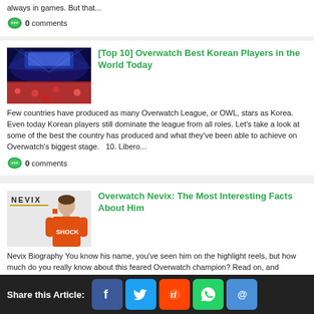always in games. But that...
0 comments
[Top 10] Overwatch Best Korean Players in the World Today
Few countries have produced as many Overwatch League, or OWL, stars as Korea. Even today Korean players still dominate the league from all roles. Let's take a look at some of the best the country has produced and what they've been able to achieve on Overwatch's biggest stage.   10. Libero...
0 comments
Overwatch Nevix: The Most Interesting Facts About Him
Nevix Biography You know his name, you've seen him on the highlight reels, but how much do you really know about this feared Overwatch champion? Read on, and
Share this Article: